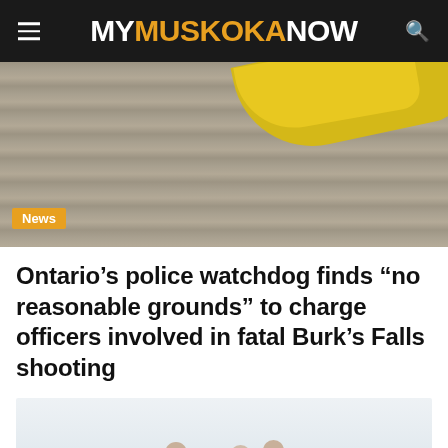MY MUSKOKA NOW
[Figure (photo): Aerial or ground-level photo of a gravel road or dirt surface with a yellow object (possibly machinery or barrier) visible in the upper right corner. A 'News' badge label is overlaid in the lower left of the image.]
Ontario’s police watchdog finds “no reasonable grounds” to charge officers involved in fatal Burk’s Falls shooting
[Figure (photo): Photo of three or four people standing together outdoors near a lake or body of water, with a treeline visible in the background. The image appears slightly faded or washed out.]